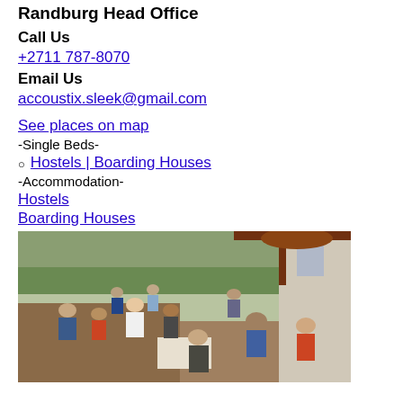Randburg Head Office
Call Us
+2711 787-8070
Email Us
accoustix.sleek@gmail.com
See places on map
-Single Beds-
Hostels | Boarding Houses
-Accommodation-
Hostels
Boarding Houses
[Figure (photo): Outdoor gathering with people sitting and socializing in a courtyard or patio area, with greenery and buildings in the background.]